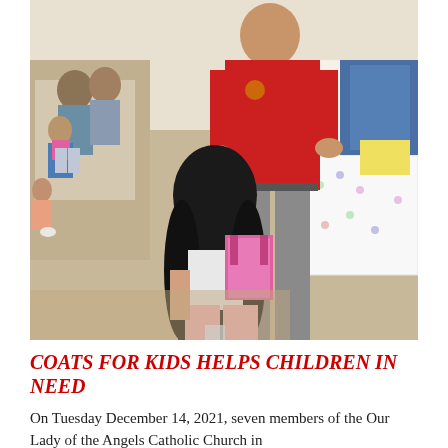[Figure (photo): Indoor scene showing a man in a red polo shirt bending toward a young girl with long black hair wearing a white top and pink pants, who is holding a pink backpack. Several other children and adults are visible seated in the background. A decorated table with coats and items is visible to the right.]
COATS FOR KIDS HELPS CHILDREN IN NEED
On Tuesday December 14, 2021, seven members of the Our Lady of the Angels Catholic Church in